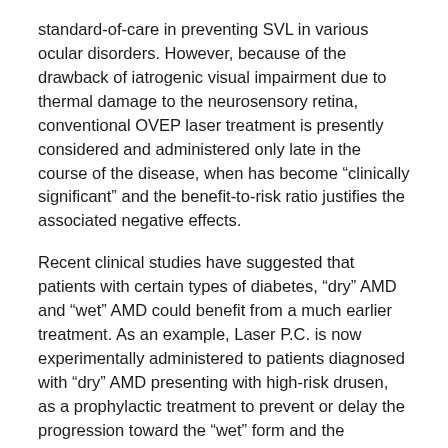standard-of-care in preventing SVL in various ocular disorders. However, because of the drawback of iatrogenic visual impairment due to thermal damage to the neurosensory retina, conventional OVEP laser treatment is presently considered and administered only late in the course of the disease, when has become “clinically significant” and the benefit-to-risk ratio justifies the associated negative effects.
Recent clinical studies have suggested that patients with certain types of diabetes, “dry” AMD and “wet” AMD could benefit from a much earlier treatment. As an example, Laser P.C. is now experimentally administered to patients diagnosed with “dry” AMD presenting with high-risk drusen, as a prophylactic treatment to prevent or delay the progression toward the “wet” form and the consequent SVL. Obviously, more aggressive therapeutic approaches with earlier treatments would easily gain acceptance and be adopted by the ophthalmic community if new user friendly and less damaging laser devices could be available to allow the easy administration of minimally invasive treatment protocols, which would become the new standard-of-care.